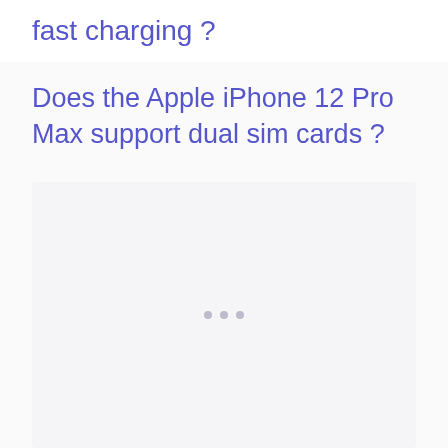fast charging ?
Does the Apple iPhone 12 Pro Max support dual sim cards ?
[Figure (other): Empty content area with light gray background and three small dots in the center]